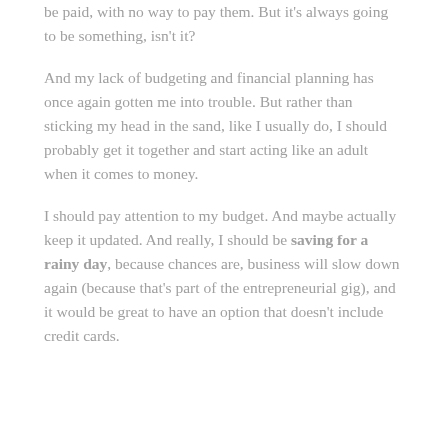be paid, with no way to pay them. But it's always going to be something, isn't it?
And my lack of budgeting and financial planning has once again gotten me into trouble. But rather than sticking my head in the sand, like I usually do, I should probably get it together and start acting like an adult when it comes to money.
I should pay attention to my budget. And maybe actually keep it updated. And really, I should be saving for a rainy day, because chances are, business will slow down again (because that's part of the entrepreneurial gig), and it would be great to have an option that doesn't include credit cards.